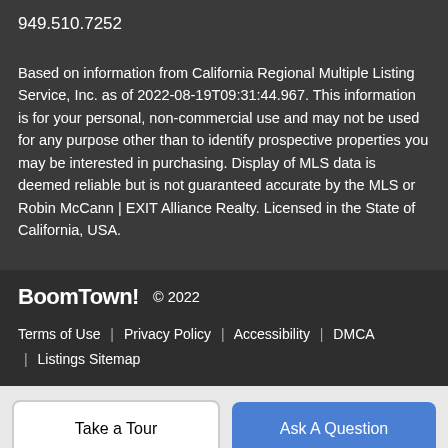949.510.7252
Based on information from California Regional Multiple Listing Service, Inc. as of 2022-08-19T09:31:44.967. This information is for your personal, non-commercial use and may not be used for any purpose other than to identify prospective properties you may be interested in purchasing. Display of MLS data is deemed reliable but is not guaranteed accurate by the MLS or Robin McCann | EXIT Alliance Realty. Licensed in the State of California, USA.
BoomTown! © 2022
Terms of Use | Privacy Policy | Accessibility | DMCA | Listings Sitemap
Take a Tour
Ask A Question